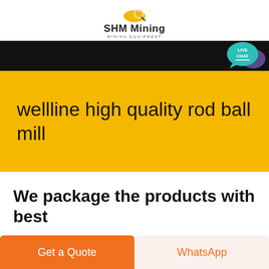[Figure (logo): SHM Mining logo with yellow helmet icon, bold text 'SHM Mining' and subtitle 'MINING EQUIPMENT']
[Figure (screenshot): Black navigation bar with a teal 'LIVE CHAT' speech bubble icon overlapping on the right side]
wellline high quality rod ball mill
We package the products with best
Get a Quote
WhatsApp